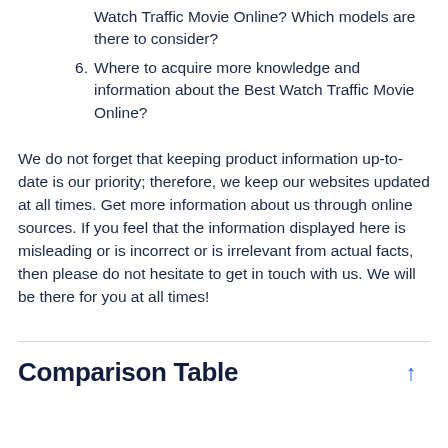Watch Traffic Movie Online? Which models are there to consider?
6. Where to acquire more knowledge and information about the Best Watch Traffic Movie Online?
We do not forget that keeping product information up-to-date is our priority; therefore, we keep our websites updated at all times. Get more information about us through online sources. If you feel that the information displayed here is misleading or is incorrect or is irrelevant from actual facts, then please do not hesitate to get in touch with us. We will be there for you at all times!
Comparison Table